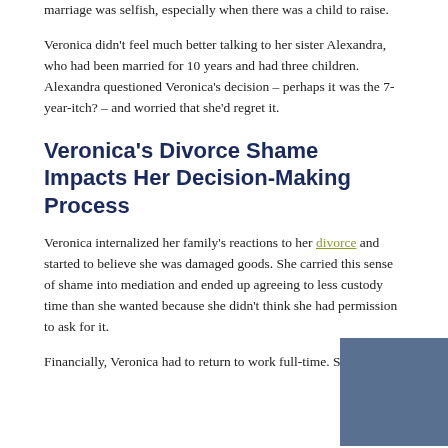marriage was selfish, especially when there was a child to raise.
Veronica didn't feel much better talking to her sister Alexandra, who had been married for 10 years and had three children. Alexandra questioned Veronica's decision – perhaps it was the 7-year-itch? – and worried that she'd regret it.
Veronica's Divorce Shame Impacts Her Decision-Making Process
Veronica internalized her family's reactions to her divorce and started to believe she was damaged goods. She carried this sense of shame into mediation and ended up agreeing to less custody time than she wanted because she didn't think she had permission to ask for it.
Financially, Veronica had to return to work full-time. She